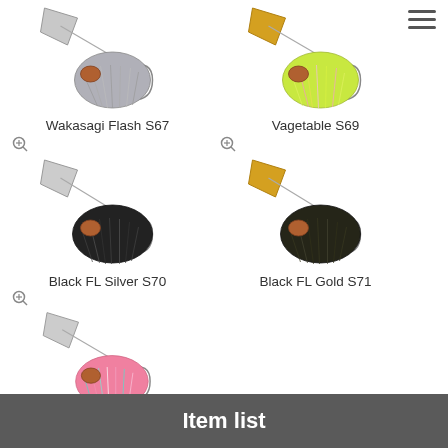[Figure (photo): Wakasagi Flash S67 - fishing lure spinnerbait with silver/grey skirt and silver blade]
Wakasagi Flash S67
[Figure (photo): Vagetable S69 - fishing lure spinnerbait with chartreuse/pink skirt and gold blade]
Vagetable S69
[Figure (photo): Black FL Silver S70 - fishing lure spinnerbait with black skirt and silver blade]
Black FL Silver S70
[Figure (photo): Black FL Gold S71 - fishing lure spinnerbait with black skirt and gold blade]
Black FL Gold S71
[Figure (photo): Sexy Pink S72 - fishing lure spinnerbait with multicolor pink/teal skirt and silver blade]
Sexy Pink S72
Item list